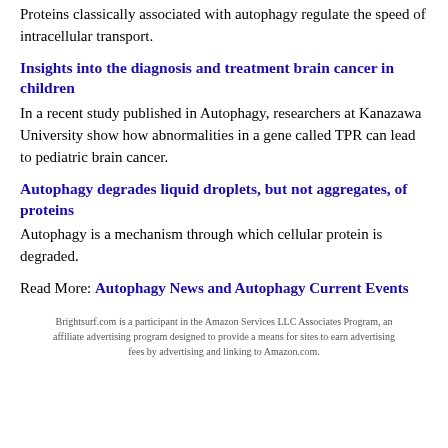Proteins classically associated with autophagy regulate the speed of intracellular transport.
Insights into the diagnosis and treatment brain cancer in children
In a recent study published in Autophagy, researchers at Kanazawa University show how abnormalities in a gene called TPR can lead to pediatric brain cancer.
Autophagy degrades liquid droplets, but not aggregates, of proteins
Autophagy is a mechanism through which cellular protein is degraded.
Read More: Autophagy News and Autophagy Current Events
Brightsurf.com is a participant in the Amazon Services LLC Associates Program, an affiliate advertising program designed to provide a means for sites to earn advertising fees by advertising and linking to Amazon.com.